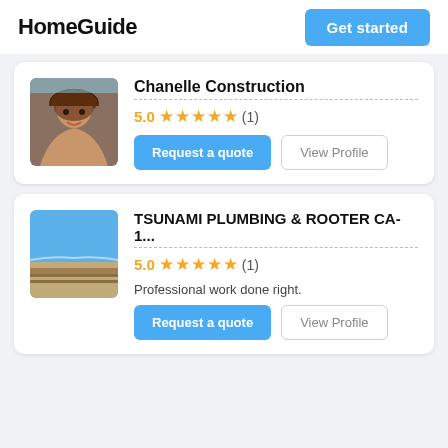HomeGuide
Chanelle Construction
5.0 ★★★★★ (1)
TSUNAMI PLUMBING & ROOTER CA-1...
5.0 ★★★★★ (1)
Professional work done right.